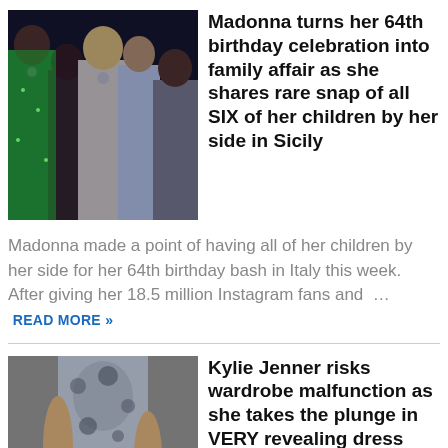[Figure (photo): Group photo of Madonna with six children at a birthday celebration, people in colorful party outfits]
Madonna turns her 64th birthday celebration into family affair as she shares rare snap of all SIX of her children by her side in Sicily
Madonna made a point of having all of her children by her side for her 64th birthday bash in Italy this week. After giving her 18.5 million Instagram fans and … READ MORE »
[Figure (photo): Kylie Jenner in a revealing dress, partial body shot showing outfit details]
Kylie Jenner risks wardrobe malfunction as she takes the plunge in VERY revealing dress